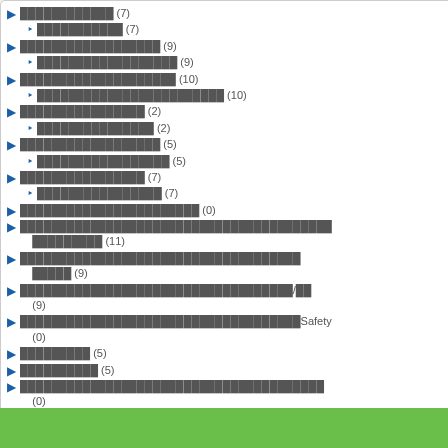▶ ████████████ (7)
‣ ████████████ (7)
▶ ████████████████████ (9)
‣ ████████████████████ (9)
▶ ███████████████████████ (10)
‣ ██████████████████████████ (10)
▶ ████████████████ (2)
‣ █████████████████ (2)
▶ ████████████████ (5)
‣ ███████████████ (5)
▶ ████████████████ (7)
‣ ████████████████ (7)
▶ ██████████████████████ (0)
▶ ████████████████████████████████████████████ (11)
▶ ██████████████████████████████████████████ (9)
▶ ██████████████████████████████████████/██ (9)
▶ ████████████████████████████████████████Safety (0)
▶ █████████ (5)
▶ ██████████ (5)
▶ ██████████████████████████████████████ (0)
▶ ███████/███████ (0)
████ * :
███████████ * :
██████ * :
████████████:  ○ ████████████
█████████████████████████ :
[Figure (other): CAPTCHA image showing red numbers 304]
████████████████████
████████████ : ████
✓ ถอบ